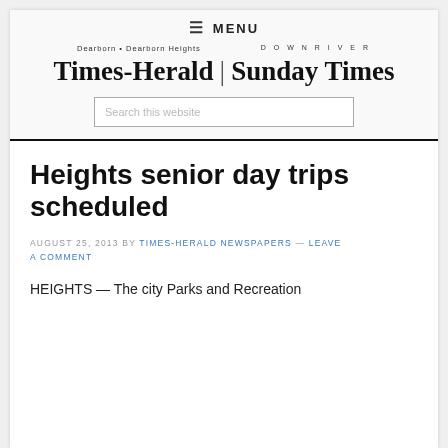≡ MENU
[Figure (logo): Times-Herald | Sunday Times newspaper logo with Dearborn • Dearborn Heights and DOWNRIVER subtitles]
Search this website
Heights senior day trips scheduled
AUGUST 25, 2013 BY TIMES-HERALD NEWSPAPERS — LEAVE A COMMENT
HEIGHTS — The city Parks and Recreation